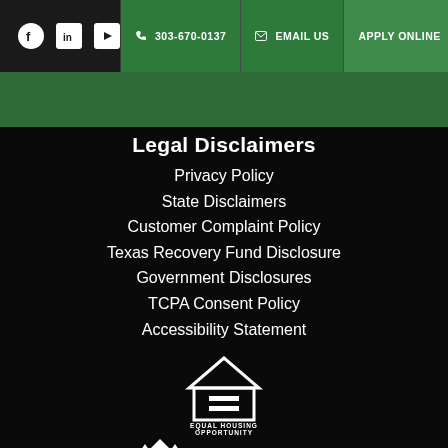Facebook LinkedIn YouTube | 303-670-0137 | EMAIL US | APPLY ONLINE
Legal Disclaimers
Privacy Policy
State Disclaimers
Customer Complaint Policy
Texas Recovery Fund Disclosure
Government Disclosures
TCPA Consent Policy
Accessibility Statement
[Figure (logo): Equal Housing Opportunity logo - house with equal sign]
[Figure (logo): NMLS Consumer Access logo]
For licensing information, go to nmlsconsumeraccess.org